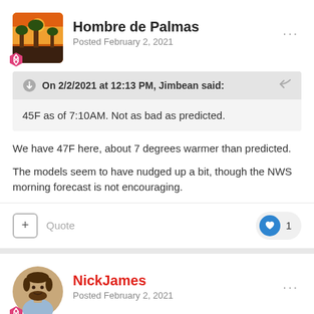Hombre de Palmas
Posted February 2, 2021
On 2/2/2021 at 12:13 PM, Jimbean said:
45F as of 7:10AM.  Not as bad as predicted.
We have 47F here, about 7 degrees warmer than predicted.
The models seem to have nudged up a bit, though the NWS morning forecast is not encouraging.
NickJames
Posted February 2, 2021